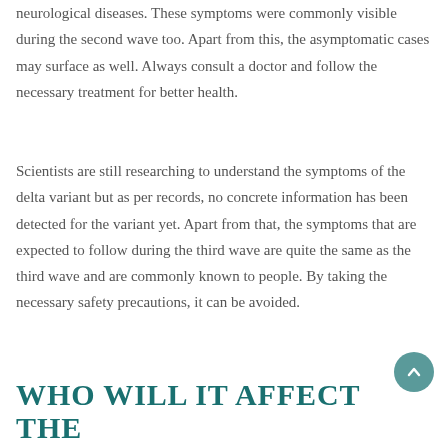neurological diseases. These symptoms were commonly visible during the second wave too. Apart from this, the asymptomatic cases may surface as well. Always consult a doctor and follow the necessary treatment for better health.
Scientists are still researching to understand the symptoms of the delta variant but as per records, no concrete information has been detected for the variant yet. Apart from that, the symptoms that are expected to follow during the third wave are quite the same as the third wave and are commonly known to people. By taking the necessary safety precautions, it can be avoided.
Who will it affect the